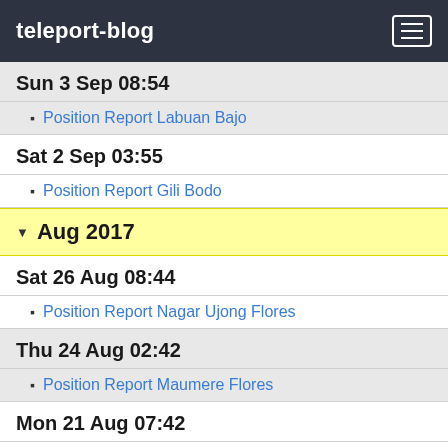teleport-blog
Sun 3 Sep 08:54
Position Report Labuan Bajo
Sat 2 Sep 03:55
Position Report Gili Bodo
Aug 2017
Sat 26 Aug 08:44
Position Report Nagar Ujong Flores
Thu 24 Aug 02:42
Position Report Maumere Flores
Mon 21 Aug 07:42
Position Report Underway Wanci Wanci Wakatoby To Flores
Mon 14 Aug 23:38
Position Report Wanci Wanci Wakatoby
Sat 12 Aug 12:52
Position Report Hoga Island Wakatoby